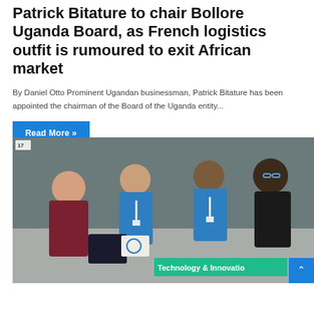Patrick Bitature to chair Bollore Uganda Board, as French logistics outfit is rumoured to exit African market
By Daniel Otto Prominent Ugandan businessman, Patrick Bitature has been appointed the chairman of the Board of the Uganda entity...
Read More »
[Figure (photo): Group of people at a conference or event around a table. One man in dark red shirt leans over a tablet device. Three others in blue polo shirts with lanyards look on. A label 'Technology & Innovation' appears at bottom right.]
administrator  November 1, 2021  1,533